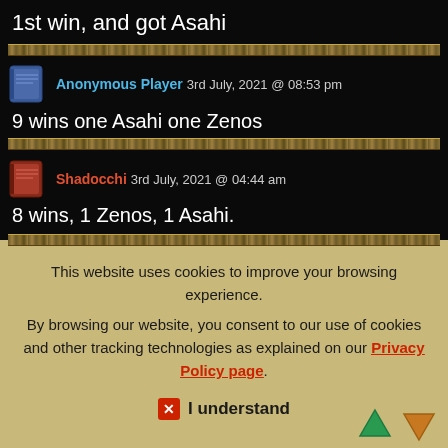1st win, and got Asahi
Anonymous Player 3rd July, 2021 @ 08:53 pm
9 wins one Asahi one Zenos
Shadocchi 3rd July, 2021 @ 04:44 am
8 wins, 1 Zenos, 1 Asahi.
This website uses cookies to improve your browsing experience.
By browsing our website, you consent to our use of cookies and other tracking technologies as explained on our Privacy Policy page.
I understand